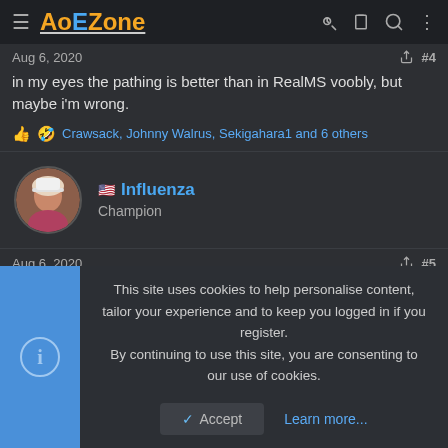AoEZone
Aug 6, 2020  #4
in my eyes the pathing is better than in RealMS voobly, but maybe i'm wrong.
Crawsack, Johnny Walrus, Sekigahara1 and 6 others
Influenza Champion
Aug 6, 2020  #5
there is a 0% chance that the pathing is better on DE compared to
This site uses cookies to help personalise content, tailor your experience and to keep you logged in if you register. By continuing to use this site, you are consenting to our use of cookies.
✓ Accept   Learn more...